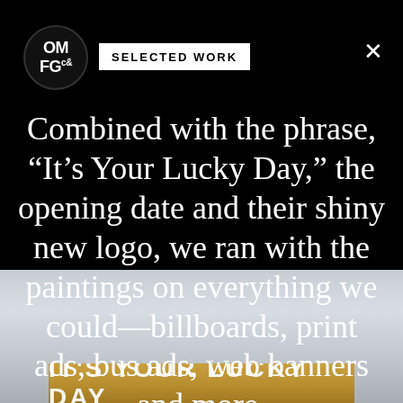[Figure (photo): Green foliage/hedge strip at top of page]
[Figure (logo): OMFG co. circular logo in black circle]
SELECTED WORK
Combined with the phrase, “It’s Your Lucky Day,” the opening date and their shiny new logo, we ran with the paintings on everything we could—billboards, print ads, bus ads, web banners and more.
[Figure (photo): Cloudy sky background with a golden/tan billboard strip at bottom reading IT'S YOUR LUCKY DAY]